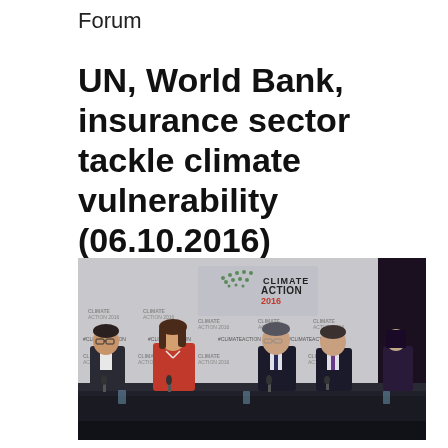Forum
UN, World Bank, insurance sector tackle climate vulnerability (06.10.2016)
[Figure (photo): Press conference panel at Climate Action 2016 event. Four panelists seated at a long table with black tablecloth in front of a branded backdrop reading 'CLIMATE ACTION2016' with #CLIMATEACTION hashtag repeated. One woman in red jacket and three men in suits. Microphones on table.]